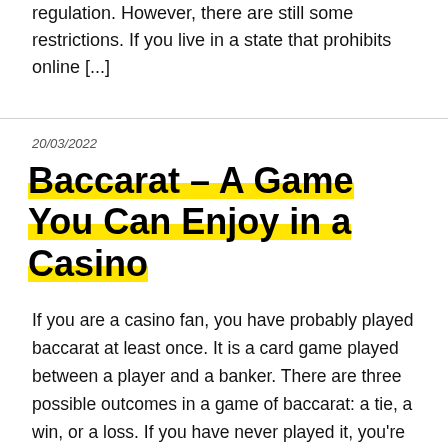regulation. However, there are still some restrictions. If you live in a state that prohibits online [...]
20/03/2022
Baccarat – A Game You Can Enjoy in a Casino
If you are a casino fan, you have probably played baccarat at least once. It is a card game played between a player and a banker. There are three possible outcomes in a game of baccarat: a tie, a win, or a loss. If you have never played it, you're in for a treat. Learn [...]